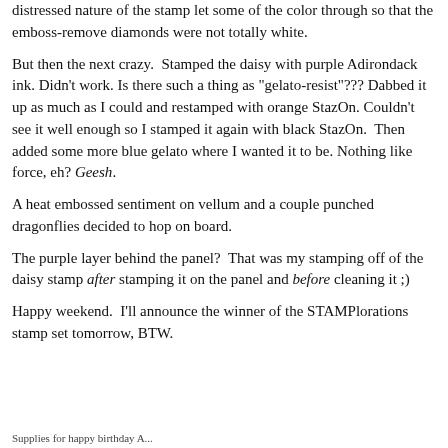distressed nature of the stamp let some of the color through so that the emboss-remove diamonds were not totally white.
But then the next crazy. Stamped the daisy with purple Adirondack ink. Didn't work. Is there such a thing as "gelato-resist"??? Dabbed it up as much as I could and restamped with orange StazOn. Couldn't see it well enough so I stamped it again with black StazOn. Then added some more blue gelato where I wanted it to be. Nothing like force, eh? Geesh.
A heat embossed sentiment on vellum and a couple punched dragonflies decided to hop on board.
The purple layer behind the panel? That was my stamping off of the daisy stamp after stamping it on the panel and before cleaning it ;)
Happy weekend. I'll announce the winner of the STAMPlorations stamp set tomorrow, BTW.
Supplies for happy birthday A...